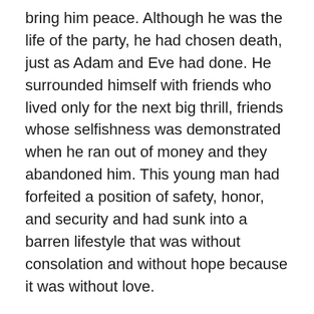bring him peace. Although he was the life of the party, he had chosen death, just as Adam and Eve had done. He surrounded himself with friends who lived only for the next big thrill, friends whose selfishness was demonstrated when he ran out of money and they abandoned him. This young man had forfeited a position of safety, honor, and security and had sunk into a barren lifestyle that was without consolation and without hope because it was without love.
I'm certainly not suggesting that this young man should have stayed as a child in his father's house for the rest of his life. It is normal for young people to grow up, prepare themselves for a career, possibly get married, and behave as responsible adults. But that is not what this young man was doing. He had no occupation or goals, and he dishonored the very father who had made his escape